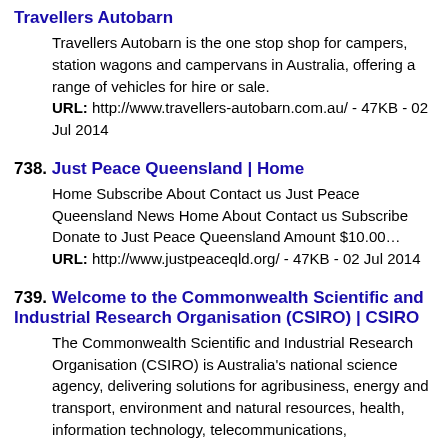Travellers Autobarn
Travellers Autobarn is the one stop shop for campers, station wagons and campervans in Australia, offering a range of vehicles for hire or sale.
URL: http://www.travellers-autobarn.com.au/ - 47KB - 02 Jul 2014
738. Just Peace Queensland | Home
Home Subscribe About Contact us Just Peace Queensland News Home About Contact us Subscribe Donate to Just Peace Queensland Amount $10.00…
URL: http://www.justpeaceqld.org/ - 47KB - 02 Jul 2014
739. Welcome to the Commonwealth Scientific and Industrial Research Organisation (CSIRO) | CSIRO
The Commonwealth Scientific and Industrial Research Organisation (CSIRO) is Australia's national science agency, delivering solutions for agribusiness, energy and transport, environment and natural resources, health, information technology, telecommunications,